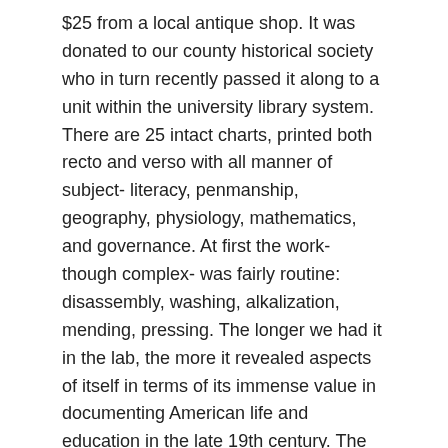$25 from a local antique shop. It was donated to our county historical society who in turn recently passed it along to a unit within the university library system. There are 25 intact charts, printed both recto and verso with all manner of subject- literacy, penmanship, geography, physiology, mathematics, and governance. At first the work- though complex- was fairly routine: disassembly, washing, alkalization, mending, pressing. The longer we had it in the lab, the more it revealed aspects of itself in terms of its immense value in documenting American life and education in the late 19th century. The poster reflects the Common School Movement- a development in American education that sought to develop a common curriculum. It began in the 1830's but went through ferment and change in the 1890's when this was printed. A parallel movement had risen in Germany in the mid 1800's as well- the training of teachers could not keep pace with rapidly increasing numbers of students in schools. Wall charts allowed for clearer instruction for greater numbers. Coupled with german expertise in chromolithographic printing, the glory days of the educational